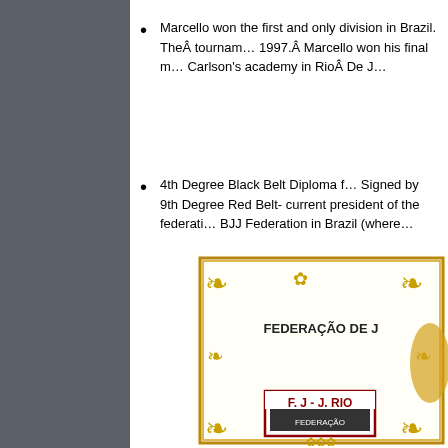Marcello won the first and only division in Brazil. The tournament 1997.  Marcello won his final match Carlson's academy in Rio De J
4th Degree Black Belt Diploma from Signed by 9th Degree Red Belt- current president of the federation BJJ Federation in Brazil (where
[Figure (photo): Partial view of a BJJ Federation certificate/diploma with gold ornate border, text 'FEDERAÇÃO DE J' and a shield logo reading 'F. J - J. RIO']